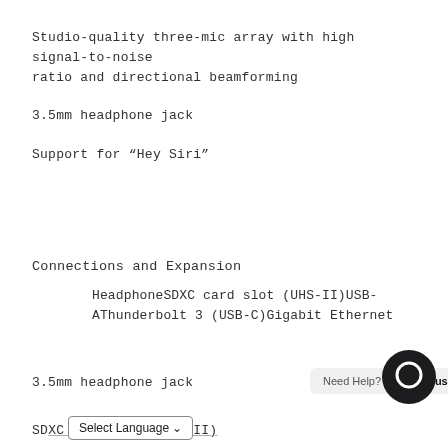Studio-quality three-mic array with high signal-to-noise ratio and directional beamforming
3.5mm headphone jack
Support for “Hey Siri”
Connections and Expansion
HeadphoneSDXC card slot (UHS-II)USB-AThunderbolt 3 (USB-C)Gigabit Ethernet
3.5mm headphone jack
SDXC card slot (UHS-II)